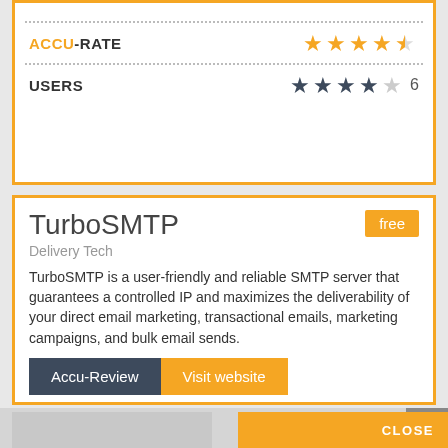ACCU-RATE ★★★★★ (4.5 stars)
USERS ★★★★☆ 6
TurboSMTP
Delivery Tech
free
TurboSMTP is a user-friendly and reliable SMTP server that guarantees a controlled IP and maximizes the deliverability of your direct email marketing, transactional emails, marketing campaigns, and bulk email sends.
Accu-Review
Visit website
CLOSE
Get accurate reviews